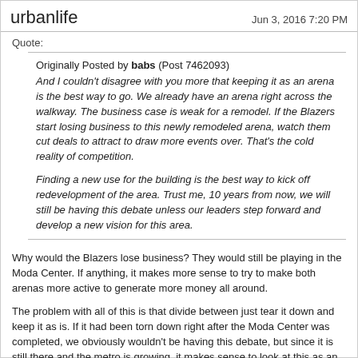urbanlife   Jun 3, 2016 7:20 PM
Quote:
Originally Posted by babs (Post 7462093)
And I couldn't disagree with you more that keeping it as an arena is the best way to go. We already have an arena right across the walkway. The business case is weak for a remodel. If the Blazers start losing business to this newly remodeled arena, watch them cut deals to attract to draw more events over. That's the cold reality of competition.

Finding a new use for the building is the best way to kick off redevelopment of the area. Trust me, 10 years from now, we will still be having this debate unless our leaders step forward and develop a new vision for this area.
Why would the Blazers lose business? They would still be playing in the Moda Center. If anything, it makes more sense to try to make both arenas more active to generate more money all around.
The problem with all of this is that divide between just tear it down and keep it as is. If it had been torn down right after the Moda Center was completed, we obviously wouldn't be having this debate, but since it is still there and the metro is growing, it makes sense to look at this as an opportunity that very few cities have.